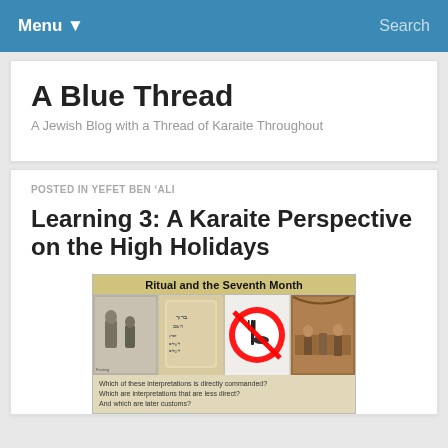Menu ▾   Search
A Blue Thread
A Jewish Blog with a Thread of Karaite Throughout
POSTED IN YEFET BEN 'ALI
Learning 3: A Karaite Perspective on the High Holidays
[Figure (illustration): Slide image titled 'Ritual and the Seventh Month' showing four panels: a black and white photo of people praying, a Hebrew memorial stone/gravestone tablet, a red circle-slash 'no eating' icon, and a Renaissance-style painting of a feast. Caption reads: 'Which of these interpretations is directly commanded? Which are interpretations that are less direct? And which are later customs?']